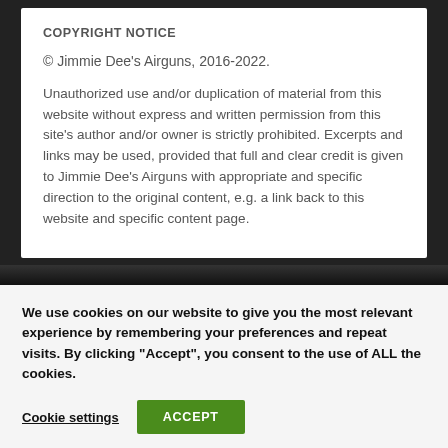COPYRIGHT NOTICE
© Jimmie Dee's Airguns, 2016-2022.
Unauthorized use and/or duplication of material from this website without express and written permission from this site's author and/or owner is strictly prohibited. Excerpts and links may be used, provided that full and clear credit is given to Jimmie Dee's Airguns with appropriate and specific direction to the original content, e.g. a link back to this website and specific content page.
We use cookies on our website to give you the most relevant experience by remembering your preferences and repeat visits. By clicking "Accept", you consent to the use of ALL the cookies.
Cookie settings
ACCEPT